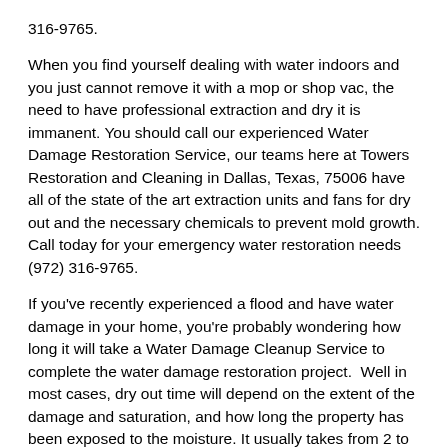316-9765.
When you find yourself dealing with water indoors and you just cannot remove it with a mop or shop vac, the need to have professional extraction and dry it is immanent. You should call our experienced Water Damage Restoration Service, our teams here at Towers Restoration and Cleaning in Dallas, Texas, 75006 have all of the state of the art extraction units and fans for dry out and the necessary chemicals to prevent mold growth. Call today for your emergency water restoration needs (972) 316-9765.
If you've recently experienced a flood and have water damage in your home, you're probably wondering how long it will take a Water Damage Cleanup Service to complete the water damage restoration project.  Well in most cases, dry out time will depend on the extent of the damage and saturation, and how long the property has been exposed to the moisture. It usually takes from 2 to 3 days to dry an average house, but if the property has been exposed for an extended period of time, it could take as long as 5 days or more. Plus there may be a rebuild process to repair the damage that was un-salvageable. Towers Restoration and Cleaning in Dallas,